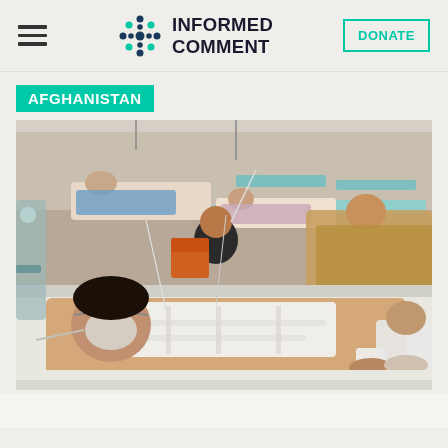INFORMED COMMENT
AFGHANISTAN
[Figure (photo): Hospital emergency ward scene showing multiple injured patients on beds with medical equipment. A man in the foreground lies on a hospital bed with bandages on his face and chest, connected to medical tubes. Another man in dark clothing appears to be a caregiver or patient. Several other patients are visible on beds in the background in a crowded ward with medical equipment.]